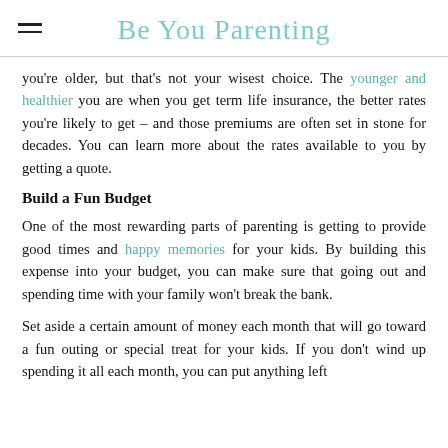Be You Parenting
you're older, but that's not your wisest choice. The younger and healthier you are when you get term life insurance, the better rates you're likely to get – and those premiums are often set in stone for decades. You can learn more about the rates available to you by getting a quote.
Build a Fun Budget
One of the most rewarding parts of parenting is getting to provide good times and happy memories for your kids. By building this expense into your budget, you can make sure that going out and spending time with your family won't break the bank.
Set aside a certain amount of money each month that will go toward a fun outing or special treat for your kids. If you don't wind up spending it all each month, you can put anything left